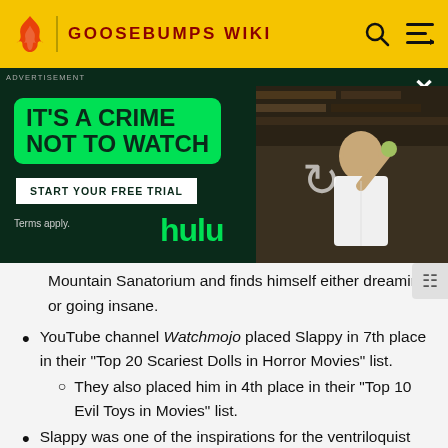GOOSEBUMPS WIKI
[Figure (screenshot): Hulu advertisement banner: 'IT'S A CRIME NOT TO WATCH' with START YOUR FREE TRIAL button and photo of actor holding something in a library setting]
Mountain Sanatorium and finds himself either dreaming or going insane.
YouTube channel Watchmojo placed Slappy in 7th place in their "Top 20 Scariest Dolls in Horror Movies" list.
They also placed him in 4th place in their "Top 10 Evil Toys in Movies" list.
Slappy was one of the inspirations for the ventriloquist dummies seen in Toy Story 4.